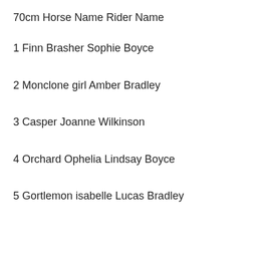70cm Horse Name Rider Name
1 Finn Brasher Sophie Boyce
2 Monclone girl Amber Bradley
3 Casper Joanne Wilkinson
4 Orchard Ophelia Lindsay Boyce
5 Gortlemon isabelle Lucas Bradley